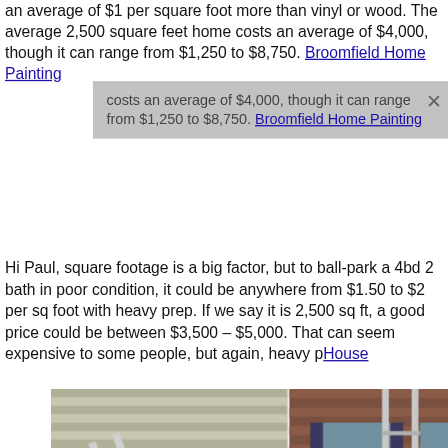an average of $1 per square foot more than vinyl or wood. The average 2,500 square feet home costs an average of $4,000, though it can range from $1,250 to $8,750. Broomfield Home Painting
Hi Paul, square footage is a big factor, but to ball-park a 4bd 2 bath in poor condition, it could be anywhere from $1.50 to $2 per sq foot with heavy prep. If we say it is 2,500 sq ft, a good price could be between $3,500 – $5,000. That can seem expensive to some people, but again, heavy p...doing the FULL i...etc.
[Figure (photo): Three photos side by side: left shows person falling off a ladder against house siding; center shows person hanging on side of a brick house; right shows person on ladder indoors.]
Hi the...q 20 ft length...wood panels...ed to prep (...need a...ete..i an loo...k estima...e so much! House Painting Broomfield CO
Hi Conaz, good question. There's a really good breakdown of all painting equipment (cost, supplies list etc.) here . As far as your other costs, I would break it down into categories, similar to how an accountant would do it: Marketing